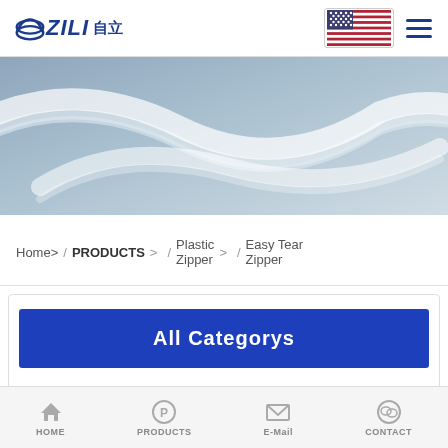[Figure (logo): ZILI (自立) company logo with arc graphic in dark blue]
[Figure (photo): Close-up photo of transparent plastic zipper strips on grey-blue background]
Home> / PRODUCTS > / Plastic Zipper > Easy Tear Zipper
All Categorys
[Figure (infographic): Navigation arrows: left arrow and right arrow]
HOME  PRODUCTS  E-Mail  CONTACT